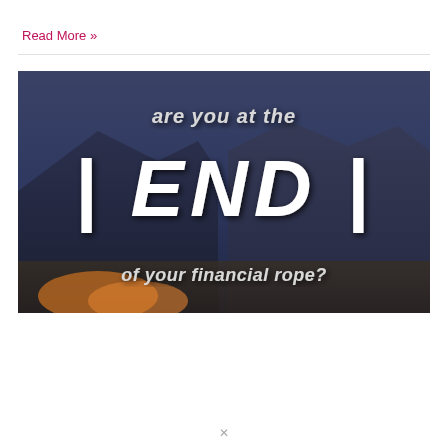Read More »
[Figure (photo): Dark blue-toned outdoor/mountain background image with bold white italic text overlay reading: 'are you at the | END | of your financial rope?']
❮